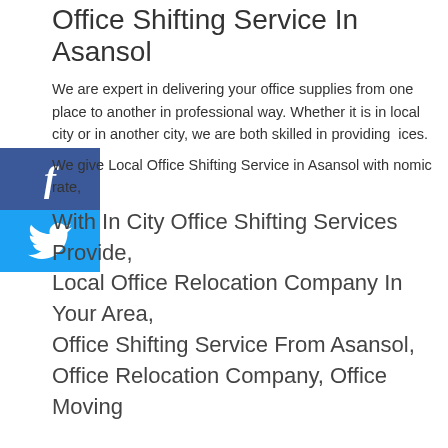Office Shifting Service In Asansol
We are expert in delivering your office supplies from one place to another in professional way. Whether it is in local city or in another city, we are both skilled in providing services.
We give Local Office Shifting Service in Asansol with nomic rate,
With In City Office Shifting Services Provide,
Local Office Relocation Company In Your Area,
Office Shifting Service From Asansol,
Office Relocation Company, Office Moving